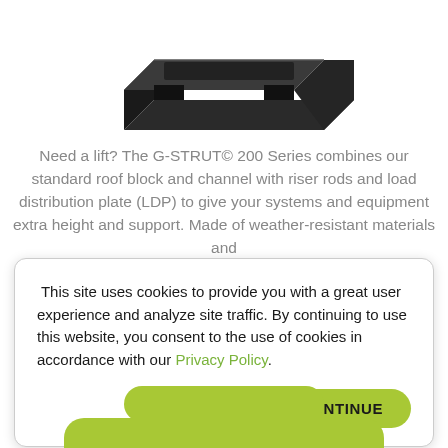[Figure (photo): 3D rendered image of G-STRUT 200 Series product — a dark/black hardware mounting block with channel and riser components, viewed from above at an angle, shown on white background]
Need a lift? The G-STRUT© 200 Series combines our standard roof block and channel with riser rods and load distribution plate (LDP) to give your systems and equipment extra height and support. Made of weather-resistant materials and
This site uses cookies to provide you with a great user experience and analyze site traffic. By continuing to use this website, you consent to the use of cookies in accordance with our Privacy Policy.